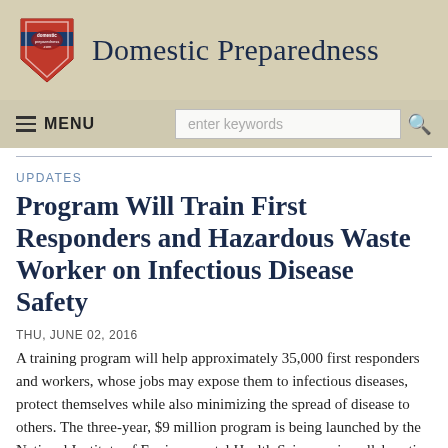Domestic Preparedness
UPDATES
Program Will Train First Responders and Hazardous Waste Worker on Infectious Disease Safety
THU, JUNE 02, 2016
A training program will help approximately 35,000 first responders and workers, whose jobs may expose them to infectious diseases, protect themselves while also minimizing the spread of disease to others. The three-year, $9 million program is being launched by the National Institute of Environmental Health Sciences, in collaboration with the Centers for Disease Control and Prevention and other federal agencies.